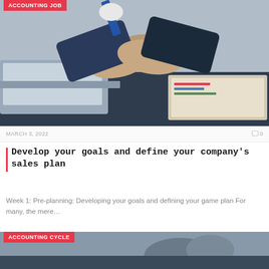[Figure (photo): Two businesspeople shaking hands over a desk with a laptop and documents, business meeting scene]
ACCOUNTING JOB
MARCH 3, 2022
0
Develop your goals and define your company's sales plan
Week 1: Pre-planning: Developing your goals and defining your game plan For many, the mere…
[Figure (photo): Partial view of a business meeting or accounting-related photo]
ACCOUNTING CYCLE